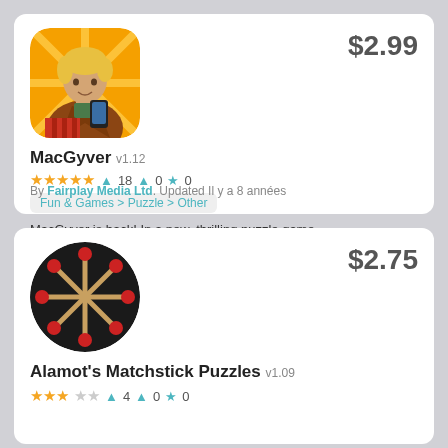[Figure (screenshot): MacGyver app icon: comic-style illustration of a blond young man in a brown jacket holding a phone, with orange radial background]
$2.99
MacGyver v1.12
★★★★★ 18 💬 0 ★ 0
Fun & Games > Puzzle > Other
MacGyver is back!  In a new, thrilling puzzle game.
By Fairplay Media Ltd. Updated Il y a 8 années
[Figure (illustration): Alamot's Matchstick Puzzles app icon: black circle with red-tipped matchsticks arranged in a starburst pattern]
$2.75
Alamot's Matchstick Puzzles v1.09
★★★☆☆ 4 💬 0 ★ 0